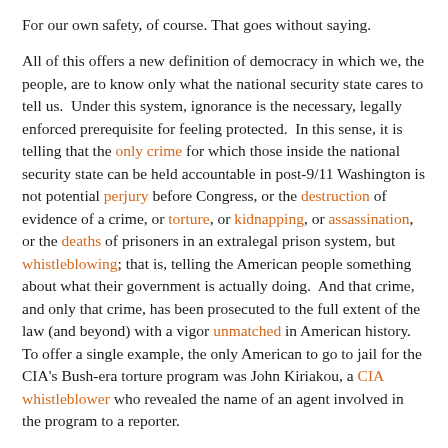For our own safety, of course. That goes without saying.
All of this offers a new definition of democracy in which we, the people, are to know only what the national security state cares to tell us.  Under this system, ignorance is the necessary, legally enforced prerequisite for feeling protected.  In this sense, it is telling that the only crime for which those inside the national security state can be held accountable in post-9/11 Washington is not potential perjury before Congress, or the destruction of evidence of a crime, or torture, or kidnapping, or assassination, or the deaths of prisoners in an extralegal prison system, but whistleblowing; that is, telling the American people something about what their government is actually doing.  And that crime, and only that crime, has been prosecuted to the full extent of the law (and beyond) with a vigor unmatched in American history.  To offer a single example, the only American to go to jail for the CIA's Bush-era torture program was John Kiriakou, a CIA whistleblower who revealed the name of an agent involved in the program to a reporter.
In these years, as power drained from Congress, an increasingly imperial White House has launched various wars (redefined by its lawyers as anything but), as well as a global assassination campaign in which the White House has its